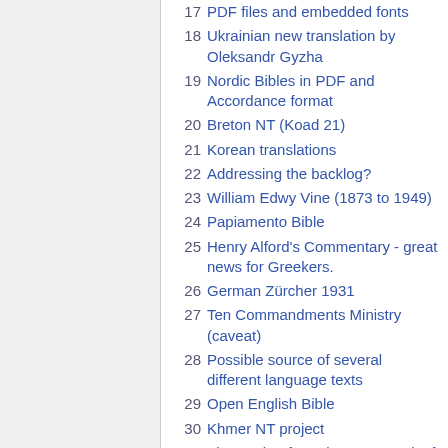17 PDF files and embedded fonts
18 Ukrainian new translation by Oleksandr Gyzha
19 Nordic Bibles in PDF and Accordance format
20 Breton NT (Koad 21)
21 Korean translations
22 Addressing the backlog?
23 William Edwy Vine (1873 to 1949)
24 Papiamento Bible
25 Henry Alford's Commentary - great news for Greekers.
26 German Zürcher 1931
27 Ten Commandments Ministry (caveat)
28 Possible source of several different language texts
29 Open English Bible
30 Khmer NT project
31 The Psalter from the 1662 Book of Common Prayer